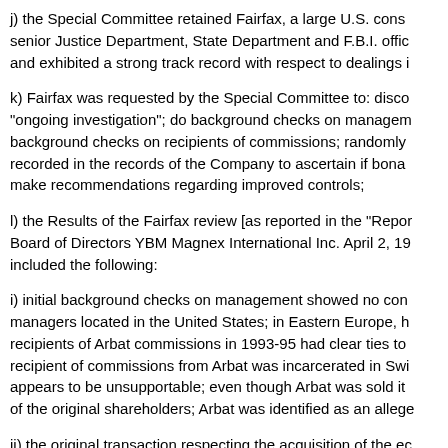j) the Special Committee retained Fairfax, a large U.S. consulting firm staffed in part by senior Justice Department, State Department and F.B.I. officials and exhibited a strong track record with respect to dealings i
k) Fairfax was requested by the Special Committee to: disco "ongoing investigation"; do background checks on management; background checks on recipients of commissions; randomly recorded in the records of the Company to ascertain if bona make recommendations regarding improved controls;
l) the Results of the Fairfax review [as reported in the "Repor Board of Directors YBM Magnex International Inc. April 2, 19 included the following:
i) initial background checks on management showed no con managers located in the United States; in Eastern Europe, h recipients of Arbat commissions in 1993-95 had clear ties to recipient of commissions from Arbat was incarcerated in Swi appears to be unsupportable; even though Arbat was sold it of the original shareholders; Arbat was identified as an alleg
ii) the original transaction respecting the acquisition of the eq described"; prices paid were not as recorded on invoices; inv the price paid by original shareholders for the equipment "is by the original shareholders in preferred shares";